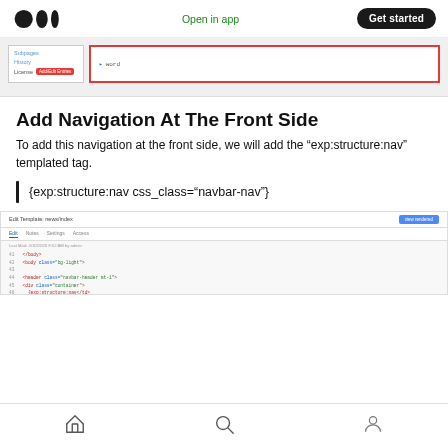Medium logo | Open in app | Get started
[Figure (screenshot): Screenshot of a CMS navigation settings panel with sidebar links and a red-bordered input field]
Add Navigation At The Front Side
To add this navigation at the front side, we will add the “exp:structure:nav” templated tag.
[Figure (screenshot): Screenshot of Edit Template: news/index editor showing HTML code with body, header, container div and structure nav tag]
Home | Search | Profile navigation icons